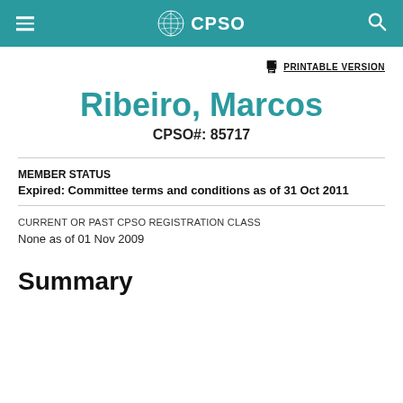CPSO
PRINTABLE VERSION
Ribeiro, Marcos
CPSO#: 85717
MEMBER STATUS
Expired: Committee terms and conditions as of 31 Oct 2011
CURRENT OR PAST CPSO REGISTRATION CLASS
None as of 01 Nov 2009
Summary